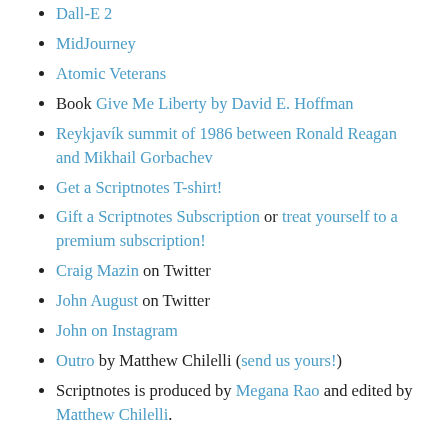Dall-E 2
MidJourney
Atomic Veterans
Book Give Me Liberty by David E. Hoffman
Reykjavík summit of 1986 between Ronald Reagan and Mikhail Gorbachev
Get a Scriptnotes T-shirt!
Gift a Scriptnotes Subscription or treat yourself to a premium subscription!
Craig Mazin on Twitter
John August on Twitter
John on Instagram
Outro by Matthew Chilelli (send us yours!)
Scriptnotes is produced by Megana Rao and edited by Matthew Chilelli.
Email us at ask@johnaugust.com